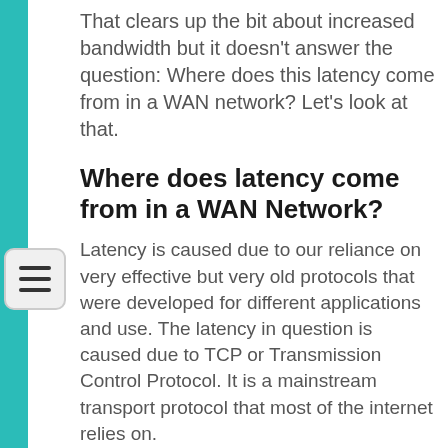That clears up the bit about increased bandwidth but it doesn't answer the question: Where does this latency come from in a WAN network? Let's look at that.
Where does latency come from in a WAN Network?
Latency is caused due to our reliance on very effective but very old protocols that were developed for different applications and use. The latency in question is caused due to TCP or Transmission Control Protocol. It is a mainstream transport protocol that most of the internet relies on.
TCP provides various mechanisms that enable effective control of the